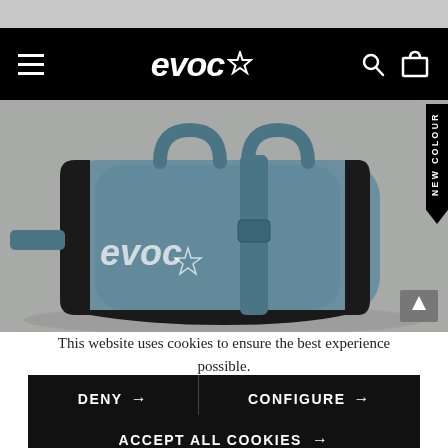[Figure (screenshot): EVOC website screenshot showing navigation bar with hamburger menu, EVOC star logo, search and cart icons on black background, and product image of a teal/slate blue EVOC cycling saddle bag with handles and straps against gray background. A 'NEW COLOUR' tag appears on the right side.]
This website uses cookies to ensure the best experience possible.
More information...
DENY →
CONFIGURE →
ACCEPT ALL COOKIES →